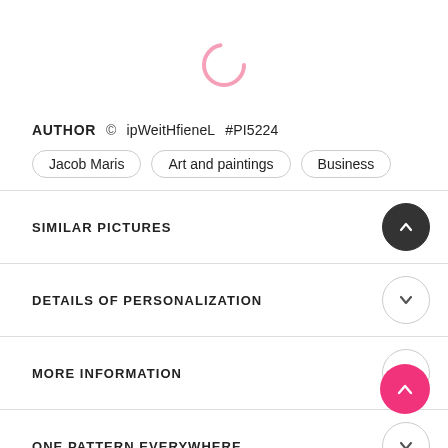[Figure (other): Pink loading spinner circle icon]
AUTHOR © ipWeitHfieneL #PI5224
Jacob Maris   Art and paintings   Business
SIMILAR PICTURES
DETAILS OF PERSONALIZATION
MORE INFORMATION
ONE PATTERN EVERYWHERE
WILL LOOK GREAT WITH